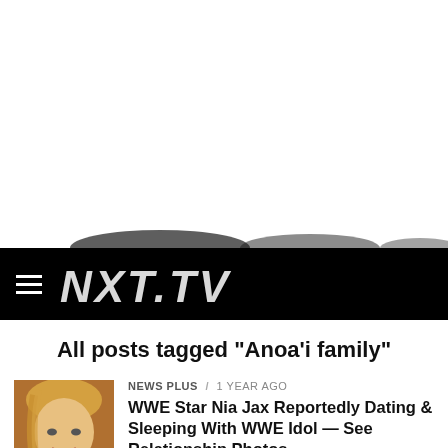[Figure (photo): Partial image visible at top — appears to be cropped photo of a person, mostly obscured/white]
[Figure (screenshot): Black navigation bar with hamburger menu icon on the left and white stylized logo text on the right]
All posts tagged "Anoa'i family"
NEWS PLUS / 1 year ago
[Figure (photo): Thumbnail photo of a blonde woman (WWE Star Nia Jax) smiling, cropped to head and shoulders]
WWE Star Nia Jax Reportedly Dating & Sleeping With WWE Idol — See Relationship Photos...